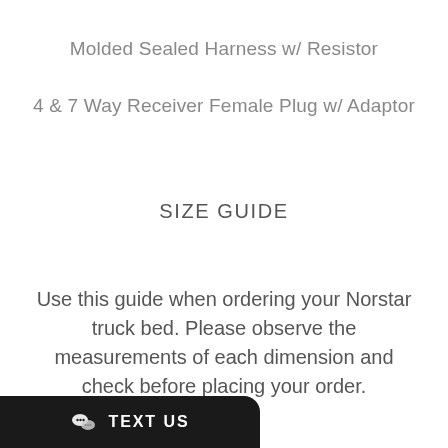Molded Sealed Harness w/ Resistor
4 & 7 Way Receiver Female Plug w/ Adaptor
SIZE GUIDE
Use this guide when ordering your Norstar truck bed. Please observe the measurements of each dimension and check before placing your order.
TEXT US